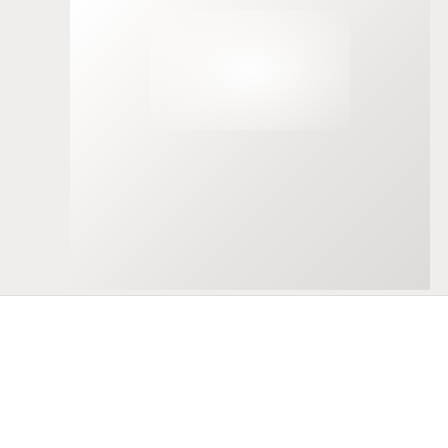[Figure (photo): A soft, light-colored background image with warm grey and white tones, appearing to be a product or lifestyle photo, partially visible behind a cookie consent banner overlay.]
We use cookies to provide necessary website functionality, improve user experience, and analyze website traffic. By clicking “Accept”, you agree to our cookie use as described in our Privacy Policy. View our Privacy Policy
Settings
Accept